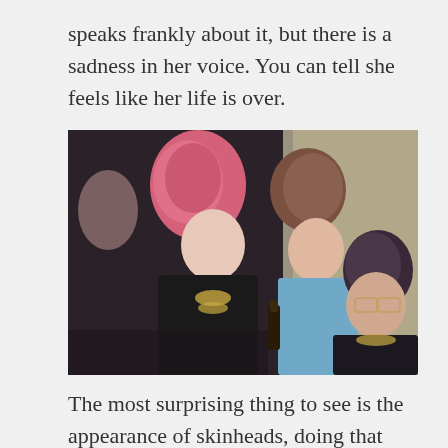speaks frankly about it, but there is a sadness in her voice. You can tell she feels like her life is over.
[Figure (photo): A vintage photograph showing three young women at what appears to be a party or social gathering. The woman on the left has bright pink/red punk-style hair and wears a black leather jacket with gold jewelry. The woman in the middle has brown curly hair and wears a light blue top. The woman on the right has dark upswept hair and wears glasses, with gold necklaces. They appear to be from the 1980s based on their fashion.]
The most surprising thing to see is the appearance of skinheads, doing that same goofy bounce-kick hop they